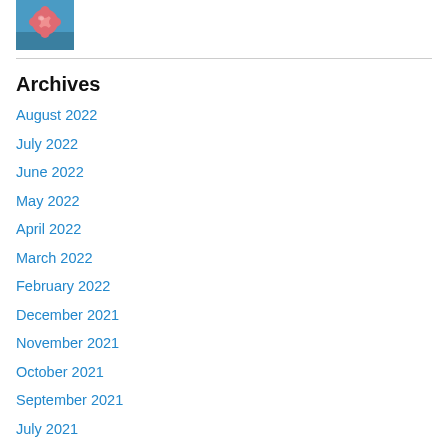[Figure (photo): Small thumbnail photo showing what appears to be a pink/coral flower or object on a blue background]
Archives
August 2022
July 2022
June 2022
May 2022
April 2022
March 2022
February 2022
December 2021
November 2021
October 2021
September 2021
July 2021
June 2021
April 2021
March 2021